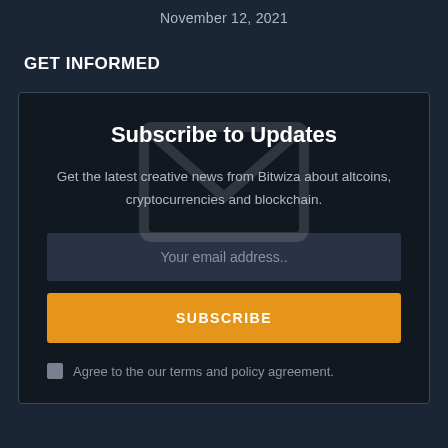November 12, 2021
GET INFORMED
Subscribe to Updates
Get the latest creative news from Bitwiza about altcoins, cryptocurrencies and blockchain.
Your email address..
SUBSCRIBE
Agree to the our terms and policy agreement.